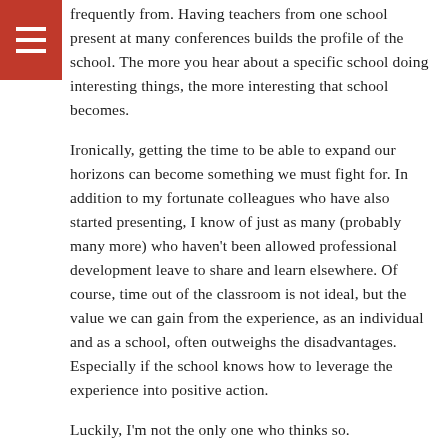frequently from. Having teachers from one school present at many conferences builds the profile of the school. The more you hear about a specific school doing interesting things, the more interesting that school becomes.
Ironically, getting the time to be able to expand our horizons can become something we must fight for. In addition to my fortunate colleagues who have also started presenting, I know of just as many (probably many more) who haven't been allowed professional development leave to share and learn elsewhere. Of course, time out of the classroom is not ideal, but the value we can gain from the experience, as an individual and as a school, often outweighs the disadvantages. Especially if the school knows how to leverage the experience into positive action.
Luckily, I'm not the only one who thinks so.
Here at YIS, our new Head of School has instituted a new